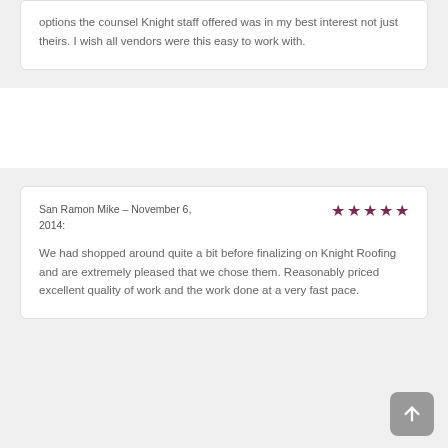options the counsel Knight staff offered was in my best interest not just theirs. I wish all vendors were this easy to work with.
San Ramon Mike – November 6, 2014:
We had shopped around quite a bit before finalizing on Knight Roofing and are extremely pleased that we chose them. Reasonably priced excellent quality of work and the work done at a very fast pace.